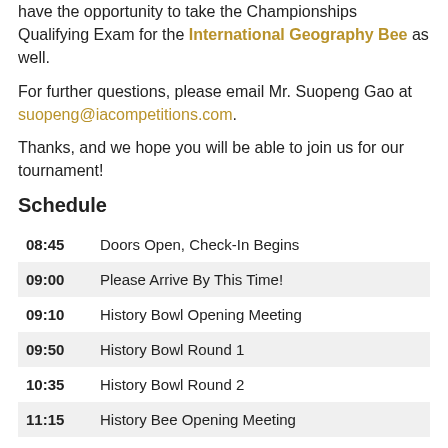have the opportunity to take the Championships Qualifying Exam for the International Geography Bee as well.
For further questions, please email Mr. Suopeng Gao at suopeng@iacompetitions.com.
Thanks, and we hope you will be able to join us for our tournament!
Schedule
| Time | Event |
| --- | --- |
| 08:45 | Doors Open, Check-In Begins |
| 09:00 | Please Arrive By This Time! |
| 09:10 | History Bowl Opening Meeting |
| 09:50 | History Bowl Round 1 |
| 10:35 | History Bowl Round 2 |
| 11:15 | History Bee Opening Meeting |